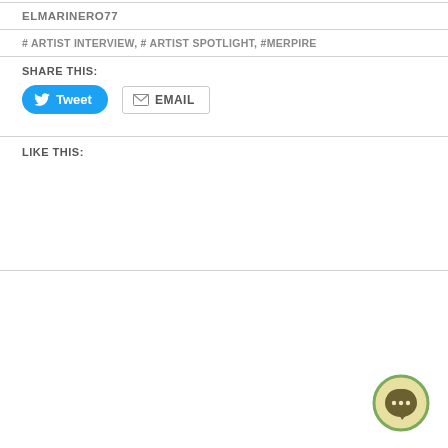ELMARINERO77
# ARTIST INTERVIEW, # ARTIST SPOTLIGHT, #MERPIRE
SHARE THIS:
[Figure (other): Tweet button (blue rounded) and EMAIL button (bordered)]
LIKE THIS:
[Figure (other): Chat bubble icon in green circle, bottom right corner]